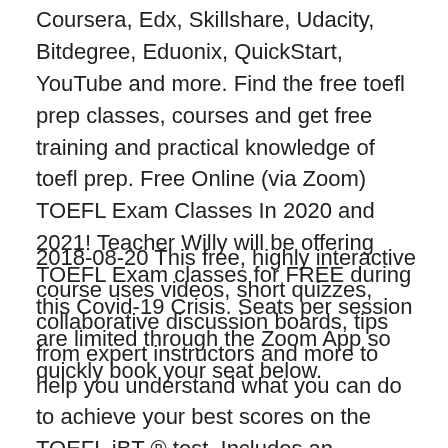Coursera, Edx, Skillshare, Udacity, Bitdegree, Eduonix, QuickStart, YouTube and more. Find the free toefl prep classes, courses and get free training and practical knowledge of toefl prep. Free Online (via Zoom) TOEFL Exam Classes In 2020 and 2021! Teacher Willy will be offering TOEFL Exam classes for FREE during this Covid-19 Crisis. Seats per session are limited through the Zoom App so quickly book your seat below.
2018-08-20 This free, highly interactive course uses videos, short quizzes, collaborative discussion boards, tips from expert instructors and more to help you understand what you can do to achieve your best scores on the TOEFL iBT ® test. Includes an introduction to the test and each section. Provides a scaled-score range for Speaking and